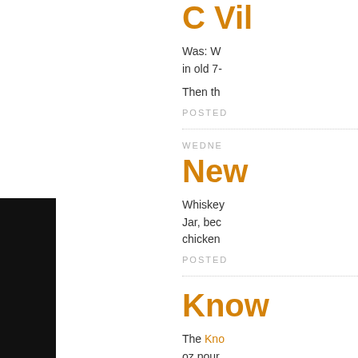[Figure (photo): Black rectangular image on the left side of the page]
C Vil...
Was: W... in old 7-...
Then th...
POSTED...
WEDNE...
New...
Whiskey... Jar, bec... chicken...
POSTED...
Know...
The Kno... oz pour...